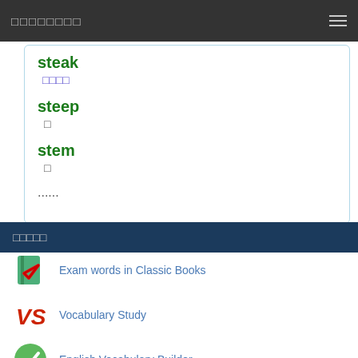□□□□□□□□
steak
□□□□
steep
□
stem
□
......
□□□□□
Exam words in Classic Books
Vocabulary Study
English Vocabulary Builder
Test Your Vocabulary